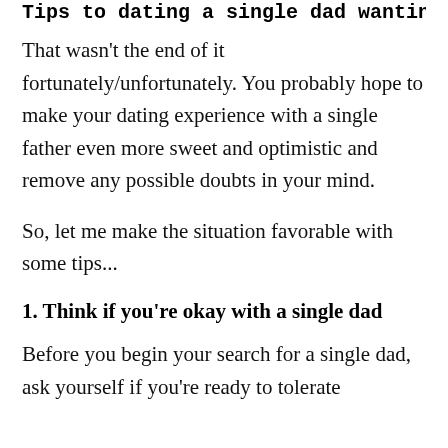Tips to dating a single dad wanting to date
That wasn't the end of it fortunately/unfortunately. You probably hope to make your dating experience with a single father even more sweet and optimistic and remove any possible doubts in your mind.
So, let me make the situation favorable with some tips...
1. Think if you're okay with a single dad
Before you begin your search for a single dad, ask yourself if you're ready to tolerate something...